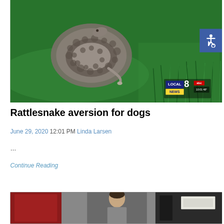[Figure (photo): A coiled rattlesnake resting on a green surface with grass visible in the background. A LOCAL NEWS 8 abc watermark is visible in the bottom right corner of the image.]
Rattlesnake aversion for dogs
June 29, 2020 12:01 PM Linda Larsen
…
Continue Reading
[Figure (photo): Partially visible image at the bottom of the page showing a person and some red objects, likely the beginning of the next article's thumbnail.]